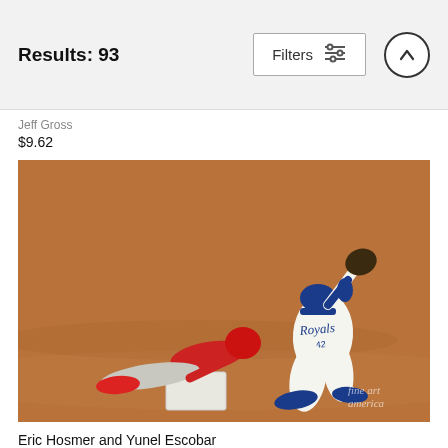Results: 93
Jeff Gross
$9.62
[Figure (photo): Baseball action photo showing a Kansas City Royals first baseman (wearing Royals uniform #42) reaching up with glove to catch a throw while an Angels player in red slides into first base. Photo taken on a dirt infield. Fine Art America watermark visible in lower right.]
Eric Hosmer and Yunel Escobar
Kyle Rivas